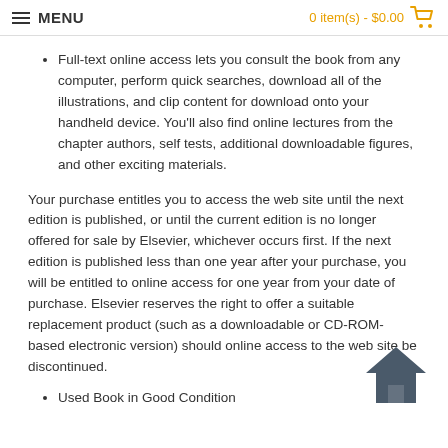MENU   0 item(s) - $0.00
Full-text online access lets you consult the book from any computer, perform quick searches, download all of the illustrations, and clip content for download onto your handheld device. You'll also find online lectures from the chapter authors, self tests, additional downloadable figures, and other exciting materials.
Your purchase entitles you to access the web site until the next edition is published, or until the current edition is no longer offered for sale by Elsevier, whichever occurs first. If the next edition is published less than one year after your purchase, you will be entitled to online access for one year from your date of purchase. Elsevier reserves the right to offer a suitable replacement product (such as a downloadable or CD-ROM-based electronic version) should online access to the web site be discontinued.
Used Book in Good Condition